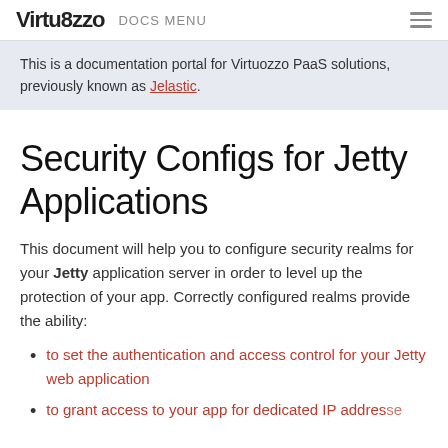Virtuozzo DOCS MENU
This is a documentation portal for Virtuozzo PaaS solutions, previously known as Jelastic.
Security Configs for Jetty Applications
This document will help you to configure security realms for your Jetty application server in order to level up the protection of your app. Correctly configured realms provide the ability:
to set the authentication and access control for your Jetty web application
to grant access to your app for dedicated IP addresses